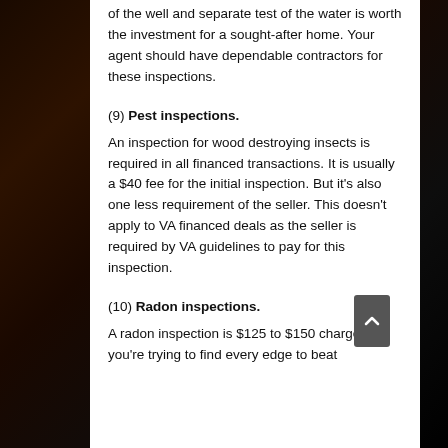of the well and separate test of the water is worth the investment for a sought-after home. Your agent should have dependable contractors for these inspections.
(9) Pest inspections.
An inspection for wood destroying insects is required in all financed transactions. It is usually a $40 fee for the initial inspection. But it's also one less requirement of the seller. This doesn't apply to VA financed deals as the seller is required by VA guidelines to pay for this inspection.
(10) Radon inspections.
A radon inspection is $125 to $150 charge. If you're trying to find every edge to beat